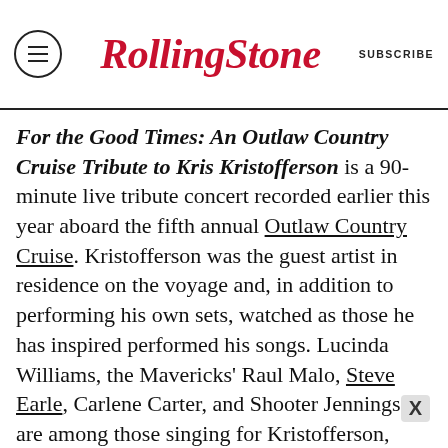RollingStone | SUBSCRIBE
For the Good Times: An Outlaw Country Cruise Tribute to Kris Kristofferson is a 90-minute live tribute concert recorded earlier this year aboard the fifth annual Outlaw Country Cruise. Kristofferson was the guest artist in residence on the voyage and, in addition to performing his own sets, watched as those he has inspired performed his songs. Lucinda Williams, the Mavericks' Raul Malo, Steve Earle, Carlene Carter, and Shooter Jennings are among those singing for Kristofferson, who joins the cast to close out the show with “Why Me.” The concert airs five times between Friday and Kristofferson’s birthday, and premieres June 19th at 8 p.m. ET.